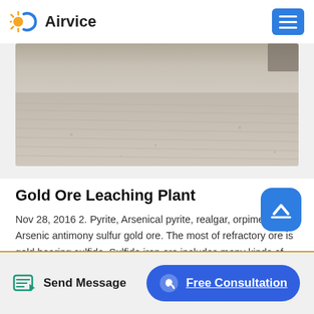Airvice
[Figure (photo): Aerial or ground-level photograph of a dry, sandy or light-colored ore/ground surface with horizontal rake or track marks, viewed at a shallow angle.]
Gold Ore Leaching Plant
Nov 28, 2016 2. Pyrite, Arsenical pyrite, realgar, orpiment, Arsenic antimony sulfur gold ore. The most of refractory ore is gold bearing sulfide. Sulfide iron ore includes many kinds of pyrite and.In heap leaching, the gold-bearing ores are actually placed on the impermeable ground to be permeated and…